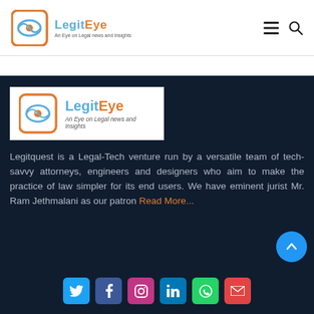LegitEye — An Eye on Legal news and Insights
[Figure (logo): LegitEye logo with orange eye icon and tagline 'An Eye on Legal news and Insights']
Legitquest is a Legal-Tech venture run by a versatile team of tech-savvy attorneys, engineers and designers who aim to make the practice of law simpler for its end users. We have eminent jurist Mr. Ram Jethmalani as our patron Read More...